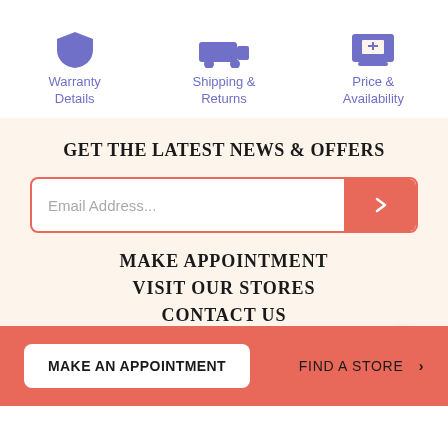[Figure (illustration): Three blue icons: shield (Warranty Details), truck/car (Shipping & Returns), price tag/screen (Price & Availability)]
Warranty Details
Shipping & Returns
Price & Availability
GET THE LATEST NEWS & OFFERS
Email Address...
MAKE APPOINTMENT
VISIT OUR STORES
CONTACT US
MAKE AN APPOINTMENT
FIND A STORE >